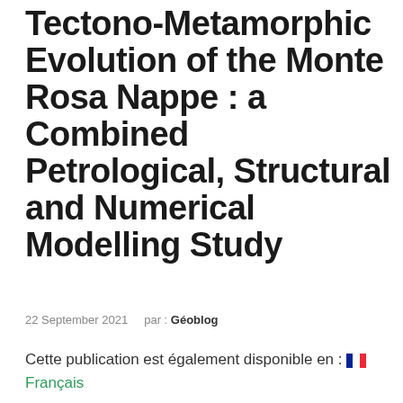Tectono-Metamorphic Evolution of the Monte Rosa Nappe : a Combined Petrological, Structural and Numerical Modelling Study
22 September 2021    par : Géoblog
Cette publication est également disponible en : 🇫🇷 Français